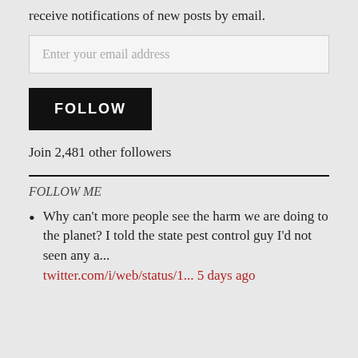receive notifications of new posts by email.
Enter your email address
FOLLOW
Join 2,481 other followers
FOLLOW ME
Why can't more people see the harm we are doing to the planet? I told the state pest control guy I'd not seen any a... twitter.com/i/web/status/1... 5 days ago